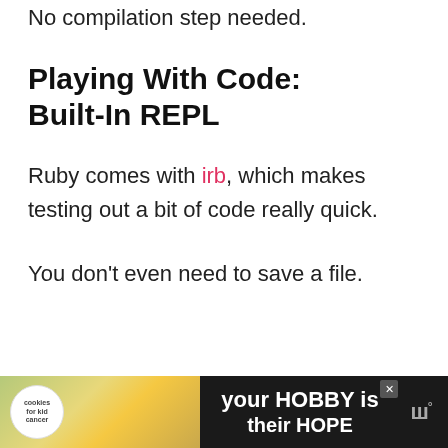No compilation step needed.
Playing With Code: Built-In REPL
Ruby comes with irb, which makes testing out a bit of code really quick.
You don't even need to save a file.
[Figure (other): Advertisement banner for 'cookies for kid cancer' with text 'your HOBBY is their HOPE' on a dark background, with a weather app icon on the right]